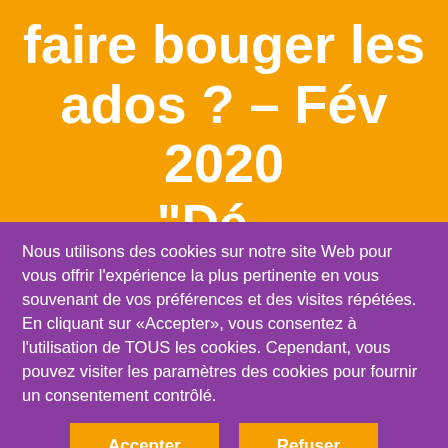faire bouger les ados ? – Fév 2020 "Dé...
Nous utilisons des cookies sur notre site Web pour vous offrir l'expérience la plus pertinente en vous souvenant de vos préférences et des visites répétées. En cliquant sur «Accepter», vous consentez à l'utilisation de TOUS les cookies. Cependant, vous pouvez visiter les paramètres des cookies pour fournir un consentement contrôlé.
Accepter
Refuser
En savoir plus